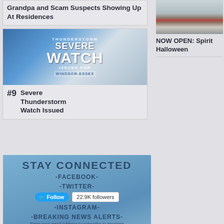Grandpa and Scam Suspects Showing Up At Residences
[Figure (photo): Severe Thunderstorm Watch Issued For Windsor-Essex graphic with storm clouds]
#9 Severe Thunderstorm Watch Issued
[Figure (photo): Building exterior photo - Spirit Halloween store]
NOW OPEN: Spirit Halloween
[Figure (infographic): Stay Connected panel with Facebook, Twitter (22.9K followers), Instagram, and Breaking News Alerts subscription sections]